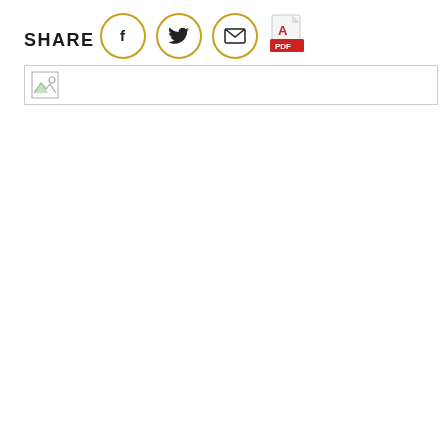SHARE
[Figure (other): Share bar with Facebook, Twitter, Email icon buttons (gold circle outlines) and a PDF icon]
[Figure (other): Broken image placeholder in a bordered box]